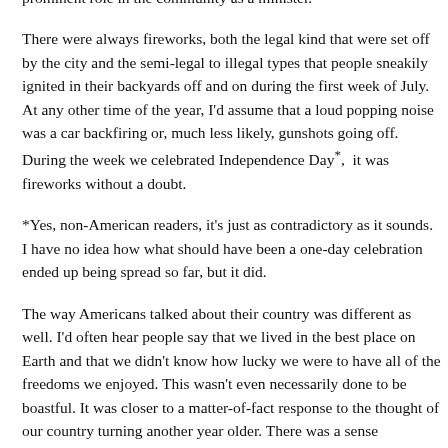of them on that long weekend some years due to my father's prominent role in the community as a minister.
There were always fireworks, both the legal kind that were set off by the city and the semi-legal to illegal types that people sneakily ignited in their backyards off and on during the first week of July. At any other time of the year, I'd assume that a loud popping noise was a car backfiring or, much less likely, gunshots going off. During the week we celebrated Independence Day*, it was fireworks without a doubt.
*Yes, non-American readers, it's just as contradictory as it sounds. I have no idea how what should have been a one-day celebration ended up being spread so far, but it did.
The way Americans talked about their country was different as well. I'd often hear people say that we lived in the best place on Earth and that we didn't know how lucky we were to have all of the freedoms we enjoyed. This wasn't even necessarily done to be boastful. It was closer to a matter-of-fact response to the thought of our country turning another year older. There was a sense